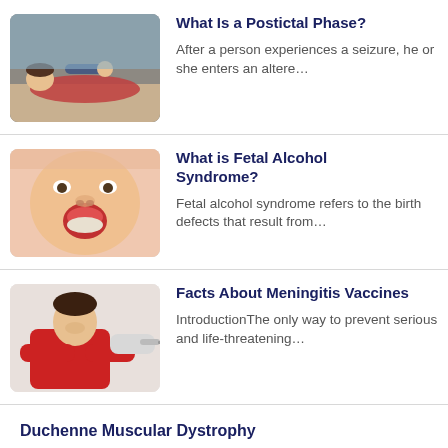[Figure (photo): Person lying on floor having a seizure, another person helping them]
What Is a Postictal Phase?
After a person experiences a seizure, he or she enters an altere…
[Figure (photo): Close-up of baby's open mouth and face]
What is Fetal Alcohol Syndrome?
Fetal alcohol syndrome refers to the birth defects that result from…
[Figure (photo): Child in red shirt receiving a vaccine injection from a gloved hand]
Facts About Meningitis Vaccines
IntroductionThe only way to prevent serious and life-threatening…
Duchenne Muscular Dystrophy